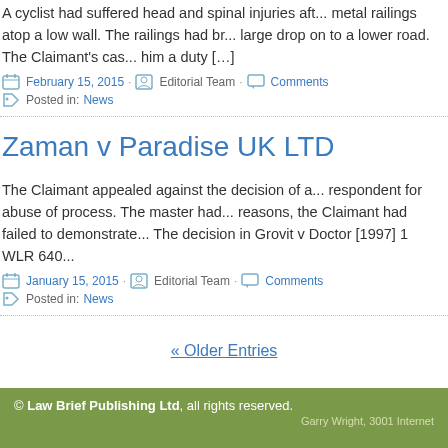A cyclist had suffered head and spinal injuries after falling over metal railings atop a low wall. The railings had broken causing a large drop on to a lower road. The Claimant's case was that he was owed him a duty [...]
February 15, 2015 · Editorial Team · Comments · Posted in: News
Zaman v Paradise UK LTD
The Claimant appealed against the decision of a master to dismiss the respondent for abuse of process. The master had held that, for two reasons, the Claimant had failed to demonstrate an intention to proceed. The decision in Grovit v Doctor [1997] 1 WLR 640...
January 15, 2015 · Editorial Team · Comments · Posted in: News
« Older Entries
© Law Brief Publishing Ltd, all rights reserved. Garry Wright, 3001 Internet